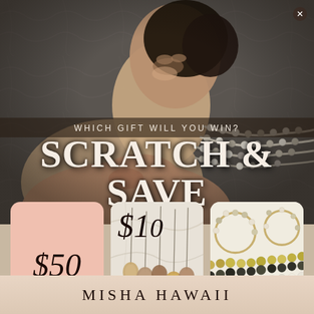[Figure (photo): Fashion/jewelry photo: woman with dark hair wearing multi-strand pearl necklace against dark rocky background, upper portion of image]
WHICH GIFT WILL YOU WIN?
SCRATCH & SAVE
[Figure (illustration): Three prize cards side by side: left card is pink showing '$50 GIFT CARD', middle card shows '$10' with dangling pearl pendants jewelry photo, right card shows gold/pearl jewelry (hoop earrings and bracelets) on white background]
MISHA HAWAII